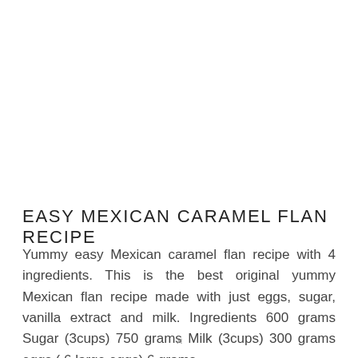EASY MEXICAN CARAMEL FLAN RECIPE
Yummy easy Mexican caramel flan recipe with 4 ingredients. This is the best original yummy Mexican flan recipe made with just eggs, sugar, vanilla extract and milk. Ingredients 600 grams Sugar (3cups) 750 grams Milk (3cups) 300 grams eggs ( 6 large eggs) 6 grams ...
✕